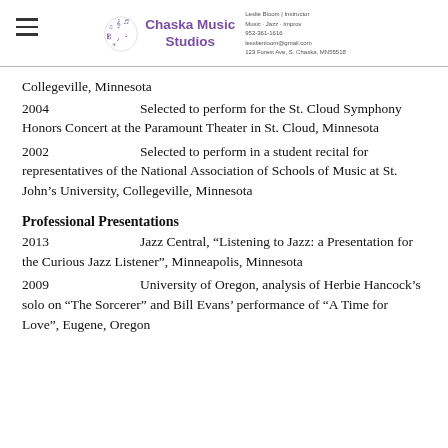Chaska Music Studios
Collegeville, Minnesota
2004    Selected to perform for the St. Cloud Symphony Honors Concert at the Paramount Theater in St. Cloud, Minnesota
2002    Selected to perform in a student recital for representatives of the National Association of Schools of Music at St. John's University, Collegeville, Minnesota
Professional Presentations
2013    Jazz Central, “Listening to Jazz: a Presentation for the Curious Jazz Listener”, Minneapolis, Minnesota
2009    University of Oregon, analysis of Herbie Hancock’s solo on “The Sorcerer” and Bill Evans’ performance of “A Time for Love”, Eugene, Oregon